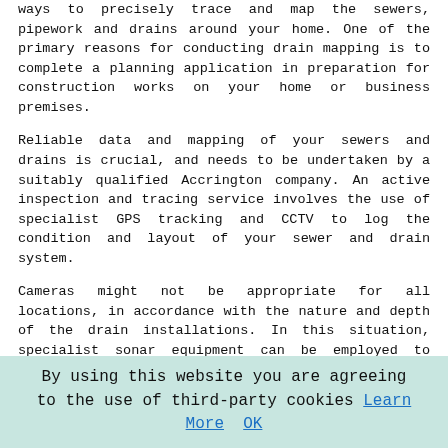ways to precisely trace and map the sewers, pipework and drains around your home. One of the primary reasons for conducting drain mapping is to complete a planning application in preparation for construction works on your home or business premises.
Reliable data and mapping of your sewers and drains is crucial, and needs to be undertaken by a suitably qualified Accrington company. An active inspection and tracing service involves the use of specialist GPS tracking and CCTV to log the condition and layout of your sewer and drain system.
Cameras might not be appropriate for all locations, in accordance with the nature and depth of the drain installations. In this situation, specialist sonar equipment can be employed to track your drainage layout and provide accurate information.
Drain Rodding Accrington
One of the commonest and simplest ways that you can get your drains unblocked in Accrington is rodding. In an emergency or in an area that is difficult to get to, the speediest strategy to unblock a drain with a minimum amount
By using this website you are agreeing to the use of third-party cookies Learn More OK